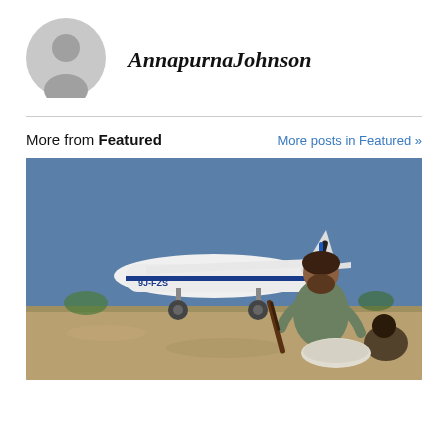[Figure (illustration): Gray circular avatar/profile icon placeholder]
AnnapurnaJohnson
More from Featured
More posts in Featured »
[Figure (photo): Outdoor photograph of a bearded man crouching with a rifle next to a small white and blue propeller aircraft marked 9J-FZS on a dry dirt airstrip]